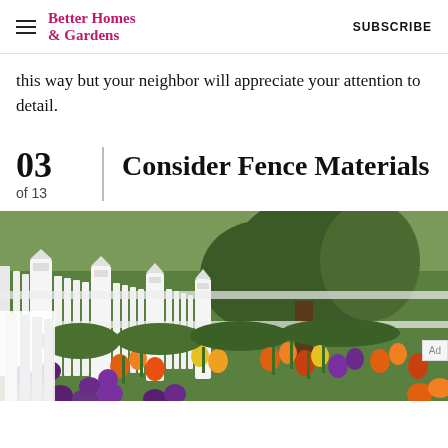Better Homes & Gardens   SUBSCRIBE
this way but your neighbor will appreciate your attention to detail.
03 of 13 | Consider Fence Materials
[Figure (photo): A white vinyl picket fence running diagonally with colorful tulips and purple flowers in a garden bed beside it, lush green lawn and trees in background.]